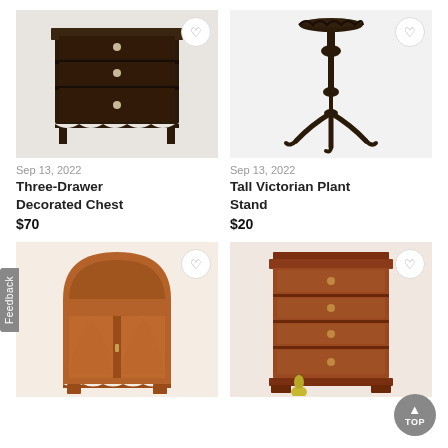[Figure (photo): Three-drawer decorated chest, dark mahogany wood, white knobs]
[Figure (photo): Tall Victorian plant stand, dark metal, tripod base with decorative tray top]
Sep 13, 2022
Three-Drawer Decorated Chest
$70
Sep 13, 2022
Tall Victorian Plant Stand
$20
[Figure (photo): Large wooden armoire/wardrobe, carved arched top, two panel doors, rustic wood]
[Figure (photo): Small four-drawer chest/nightstand, cherry wood, with decorative pear fruit prop]